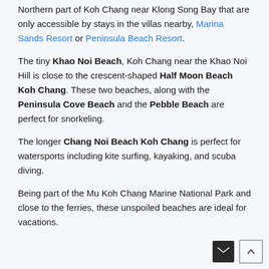Northern part of Koh Chang near Klong Song Bay that are only accessible by stays in the villas nearby, Marina Sands Resort or Peninsula Beach Resort.
The tiny Khao Noi Beach, Koh Chang near the Khao Noi Hill is close to the crescent-shaped Half Moon Beach Koh Chang. These two beaches, along with the Peninsula Cove Beach and the Pebble Beach are perfect for snorkeling.
The longer Chang Noi Beach Koh Chang is perfect for watersports including kite surfing, kayaking, and scuba diving.
Being part of the Mu Koh Chang Marine National Park and close to the ferries, these unspoiled beaches are ideal for vacations.
Best Koh Chang Beaches On The East Coast